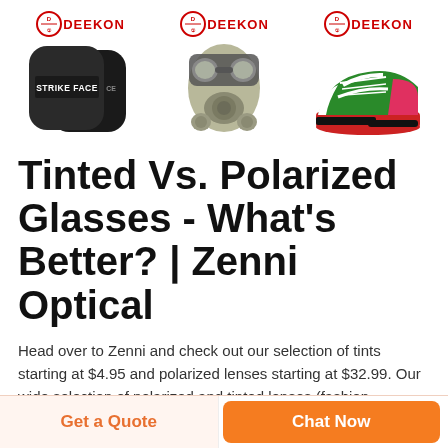[Figure (photo): Three product images with DEEKON logo above each: (1) black ballistic armor plates labeled STRIKE FACE, (2) olive/tan gas mask with goggles, (3) colorful athletic sneakers in green, red, white and pink]
Tinted Vs. Polarized Glasses - What's Better? | Zenni Optical
Head over to Zenni and check out our selection of tints starting at $4.95 and polarized lenses starting at $32.99. Our wide selection of polarized and tinted lenses (fashion, gradient, and sunglas[teal block]s